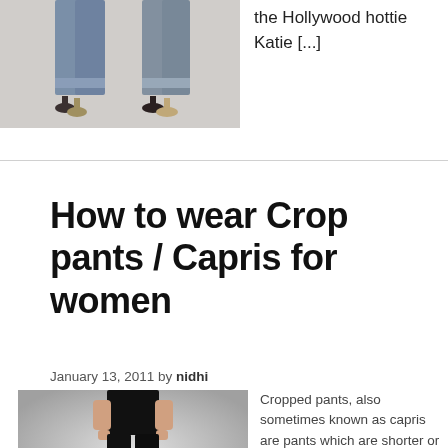[Figure (photo): Two women from waist down wearing cuffed jeans with heels]
the Hollywood hottie Katie [...]
How to wear Crop pants / Capris for women
January 13, 2011 by nidhi
[Figure (photo): Woman wearing black cropped pants / capris, standing against grey background]
Cropped pants, also sometimes known as capris are pants which are shorter or 'cropped' than the regular ankle